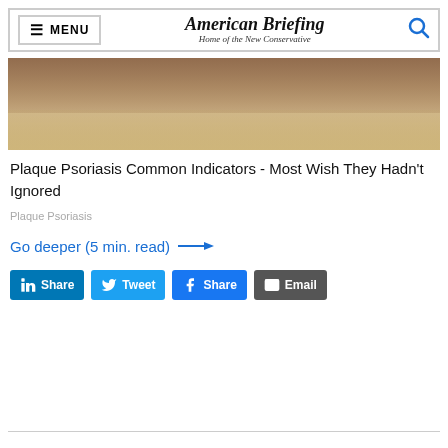MENU | American Briefing — Home of the New Conservative
[Figure (photo): Close-up photo of a hand on a wooden surface, partially visible at top, suggesting a skin condition context.]
Plaque Psoriasis Common Indicators - Most Wish They Hadn't Ignored
Plaque Psoriasis
Go deeper (5 min. read) →
Share | Tweet | Share | Email